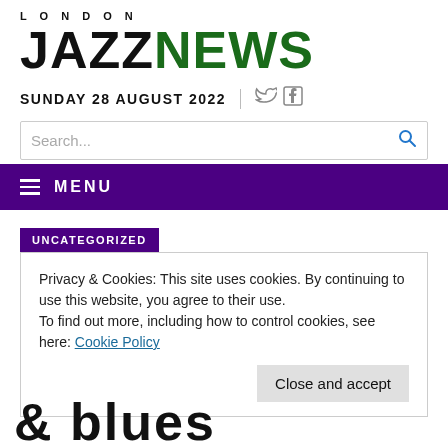LONDON JAZZNEWS
SUNDAY 28 AUGUST 2022
Search...
MENU
UNCATEGORIZED
Privacy & Cookies: This site uses cookies. By continuing to use this website, you agree to their use.
To find out more, including how to control cookies, see here: Cookie Policy
Close and accept
& blues